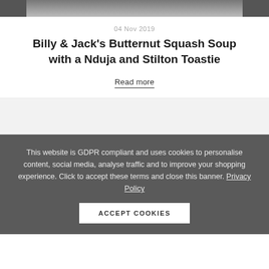[Figure (photo): Partial top of a food photo, cropped — dark background with a light-colored object (likely a bowl or cup)]
04 Nov 2019
Billy & Jack's Butternut Squash Soup with a Nduja and Stilton Toastie
Read more
This website is GDPR compliant and uses cookies to personalise content, social media, analyse traffic and to improve your shopping experience. Click to accept these terms and close this banner. Privacy Policy
ACCEPT COOKIES